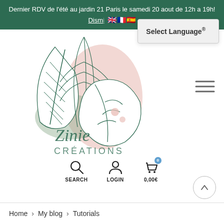Dernier RDV de l'été au jardin 21 Paris le samedi 20 aout de 12h a 19h! Dismiss
[Figure (other): Select Language dropdown overlay with language flag icons (UK, French, Spanish)]
[Figure (logo): Zinie Créations logo with tropical leaf botanical illustration in dark green, sage green and dusty rose, with script and serif text]
[Figure (other): Hamburger menu icon (three horizontal lines)]
[Figure (other): Navigation icons: Search (magnifying glass), Login (person silhouette), Cart (bag with badge showing 0) with labels SEARCH, LOGIN, 0,00€]
[Figure (other): Scroll-to-top circular button with upward arrow]
Home > My blog > Tutorials